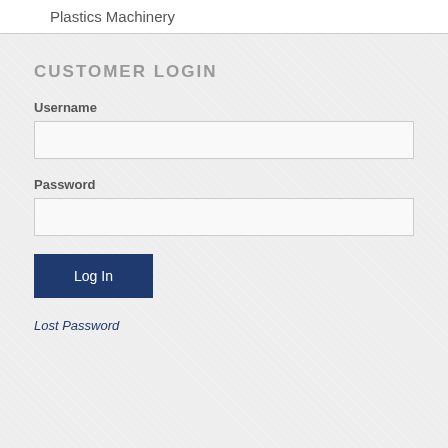Plastics Machinery
CUSTOMER LOGIN
Username
Password
Log In
Lost Password